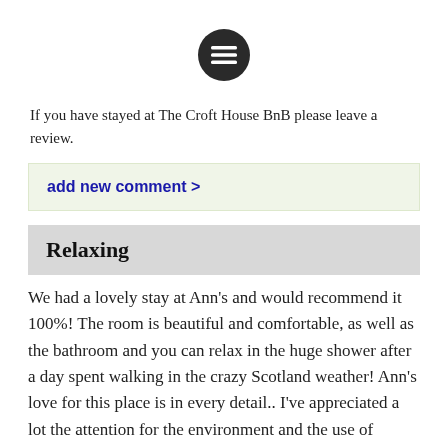[Figure (other): Hamburger menu icon — dark circle with three horizontal lines]
If you have stayed at The Croft House BnB please leave a review.
add new comment >
Relaxing
We had a lovely stay at Ann's and would recommend it 100%! The room is beautiful and comfortable, as well as the bathroom and you can relax in the huge shower after a day spent walking in the crazy Scotland weather! Ann's love for this place is in every detail.. I've appreciated a lot the attention for the environment and the use of natural bathroom products and soaps. Breakfast include a